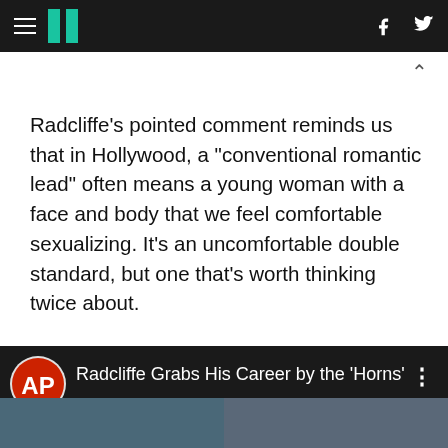HuffPost navigation header with hamburger menu, logo, Facebook and Twitter icons
Radcliffe's pointed comment reminds us that in Hollywood, a "conventional romantic lead" often means a young woman with a face and body that we feel comfortable sexualizing. It's an uncomfortable double standard, but one that's worth thinking twice about.
Watch the full interview below:
[Figure (screenshot): AP video thumbnail bar showing 'Radcliffe Grabs His Career by the Horns' with AP logo circle and two photo thumbnails at bottom]